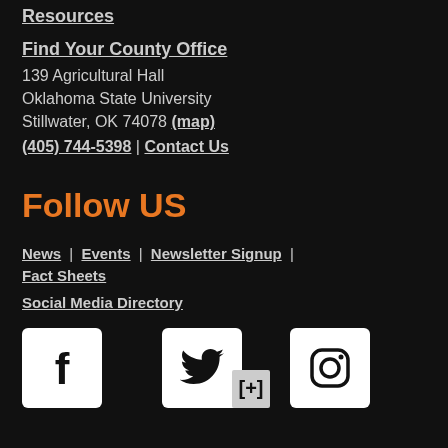Resources
Find Your County Office
139 Agricultural Hall
Oklahoma State University
Stillwater, OK 74078 (map)
(405) 744-5398 | Contact Us
Follow US
News | Events | Newsletter Signup | Fact Sheets
Social Media Directory
[Figure (illustration): Social media icons: Facebook, Twitter, Instagram]